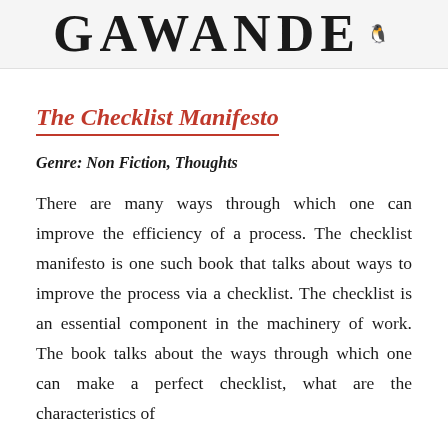[Figure (other): Book cover header banner showing author name GAWANDE in large bold serif font with a Penguin Books logo icon to the right]
The Checklist Manifesto
Genre: Non Fiction, Thoughts
There are many ways through which one can improve the efficiency of a process. The checklist manifesto is one such book that talks about ways to improve the process via a checklist. The checklist is an essential component in the machinery of work. The book talks about the ways through which one can make a perfect checklist, what are the characteristics of the checklist & how it will help.